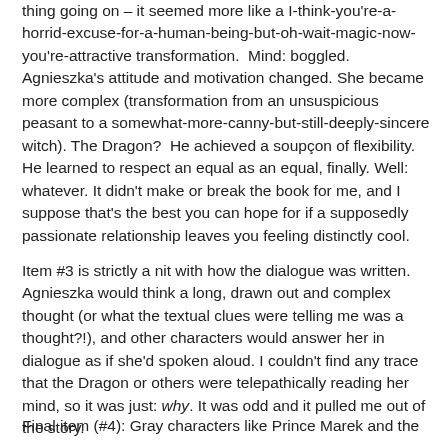thing going on – it seemed more like a I-think-you're-a-horrid-excuse-for-a-human-being-but-oh-wait-magic-now-you're-attractive transformation.  Mind: boggled.  Agnieszka's attitude and motivation changed. She became more complex (transformation from an unsuspicious peasant to a somewhat-more-canny-but-still-deeply-sincere witch). The Dragon?  He achieved a soupçon of flexibility.  He learned to respect an equal as an equal, finally. Well: whatever. It didn't make or break the book for me, and I suppose that's the best you can hope for if a supposedly passionate relationship leaves you feeling distinctly cool.
Item #3 is strictly a nit with how the dialogue was written. Agnieszka would think a long, drawn out and complex thought (or what the textual clues were telling me was a thought?!), and other characters would answer her in dialogue as if she'd spoken aloud. I couldn't find any trace that the Dragon or others were telepathically reading her mind, so it was just: why. It was odd and it pulled me out of the story.
Final item (#4): Gray characters like Prince Marek and the